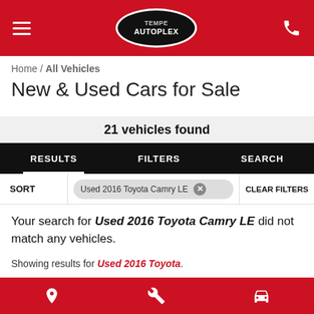Tempe Autoplex — navigation header with hamburger menu, logo, phone icon
Home / All Vehicles
New & Used Cars for Sale
21 vehicles found
RESULTS   FILTERS   SEARCH
SORT   Used 2016 Toyota Camry LE ×   CLEAR FILTERS
Your search for Used 2016 Toyota Camry LE did not match any vehicles.
Showing results for Used 2016 Toyota.
Footer with location, wrench, and car icons